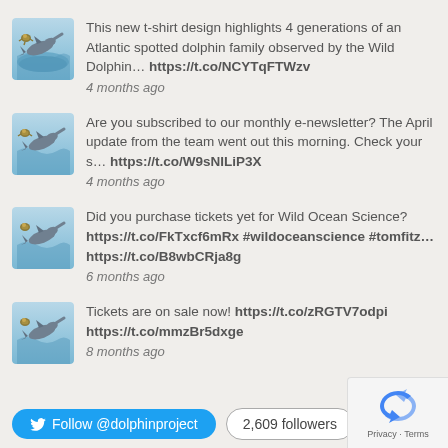This new t-shirt design highlights 4 generations of an Atlantic spotted dolphin family observed by the Wild Dolphin... https://t.co/NCYTqFTWzv
4 months ago
Are you subscribed to our monthly e-newsletter? The April update from the team went out this morning. Check your s... https://t.co/W9sNILiP3X
4 months ago
Did you purchase tickets yet for Wild Ocean Science? https://t.co/FkTxcf6mRx #wildoceanscience #tomfitz... https://t.co/B8wbCRja8g
6 months ago
Tickets are on sale now! https://t.co/zRGTV7odpi https://t.co/mmzBr5dxge
8 months ago
Follow @dolphinproject   2,609 followers